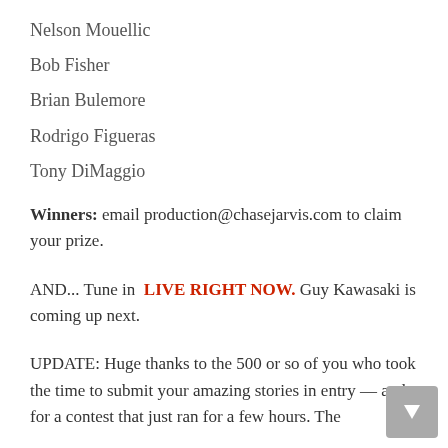Nelson Mouellic
Bob Fisher
Brian Bulemore
Rodrigo Figueras
Tony DiMaggio
Winners: email production@chasejarvis.com to claim your prize.
AND... Tune in LIVE RIGHT NOW. Guy Kawasaki is coming up next.
UPDATE: Huge thanks to the 500 or so of you who took the time to submit your amazing stories in entry — and for a contest that just ran for a few hours. The